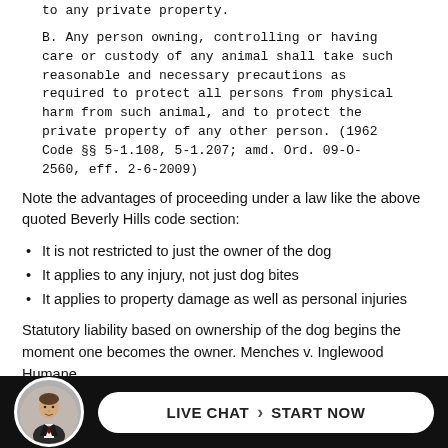to any private property.
B. Any person owning, controlling or having care or custody of any animal shall take such reasonable and necessary precautions as required to protect all persons from physical harm from such animal, and to protect the private property of any other person. (1962 Code §§ 5-1.108, 5-1.207; amd. Ord. 09-O-2560, eff. 2-6-2009)
Note the advantages of proceeding under a law like the above quoted Beverly Hills code section:
It is not restricted to just the owner of the dog
It applies to any injury, not just dog bites
It applies to property damage as well as personal injuries
Statutory liability based on ownership of the dog begins the moment one becomes the owner. Menches v. Inglewood Humane Society... held
[Figure (other): Live chat button bar with avatar photo of a man in suit, and a white pill-shaped button reading LIVE CHAT > START NOW on a black background]